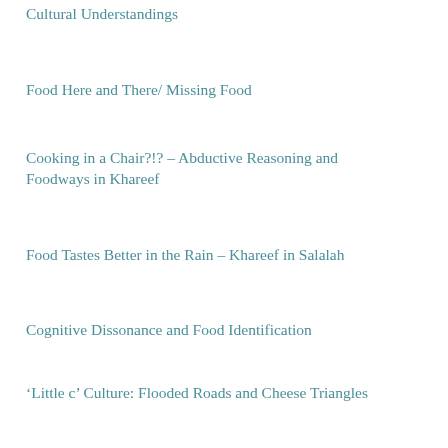Cultural Understandings
Food Here and There/ Missing Food
Cooking in a Chair?!? – Abductive Reasoning and Foodways in Khareef
Food Tastes Better in the Rain – Khareef in Salalah
Cognitive Dissonance and Food Identification
'Little c' Culture: Flooded Roads and Cheese Triangles
Foodways Images – Humor, Disseminating Information, and the Instagram Food/ Money Connection